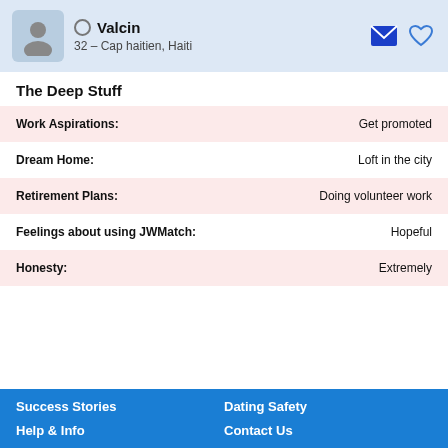Valcin, 32 – Cap haitien, Haiti
The Deep Stuff
| Field | Value |
| --- | --- |
| Work Aspirations: | Get promoted |
| Dream Home: | Loft in the city |
| Retirement Plans: | Doing volunteer work |
| Feelings about using JWMatch: | Hopeful |
| Honesty: | Extremely |
Success Stories  Dating Safety  Help & Info  Contact Us